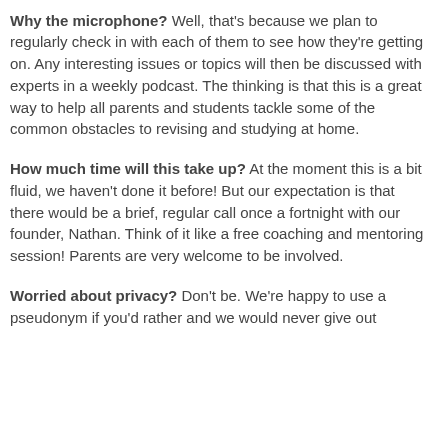useful if they are comfortable talking and have access to an internet connect device for the calls.
Why the microphone? Well, that's because we plan to regularly check in with each of them to see how they're getting on. Any interesting issues or topics will then be discussed with experts in a weekly podcast. The thinking is that this is a great way to help all parents and students tackle some of the common obstacles to revising and studying at home.
How much time will this take up? At the moment this is a bit fluid, we haven't done it before! But our expectation is that there would be a brief, regular call once a fortnight with our founder, Nathan. Think of it like a free coaching and mentoring session! Parents are very welcome to be involved.
Worried about privacy? Don't be. We're happy to use a pseudonym if you'd rather and we would never give out